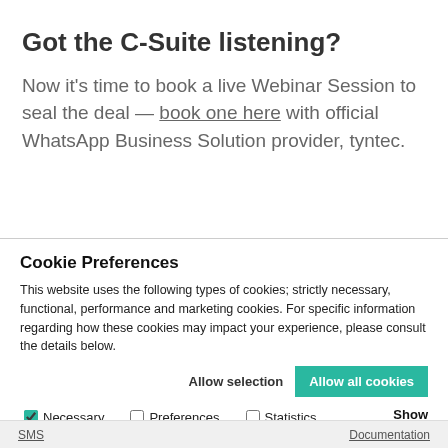Got the C-Suite listening?
Now it's time to book a live Webinar Session to seal the deal — book one here with official WhatsApp Business Solution provider, tyntec.
Cookie Preferences
This website uses the following types of cookies; strictly necessary, functional, performance and marketing cookies. For specific information regarding how these cookies may impact your experience, please consult the details below.
Allow selection   Allow all cookies
✓ Necessary   □ Preferences   □ Statistics   Show details ∨
□ Marketing
SMS   Documentation